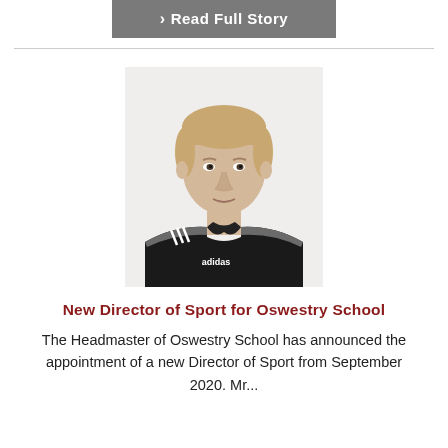Read Full Story
[Figure (photo): Headshot of a young blond man wearing a black Adidas polo shirt with grey shoulders, against a white background.]
New Director of Sport for Oswestry School
The Headmaster of Oswestry School has announced the appointment of a new Director of Sport from September 2020. Mr...